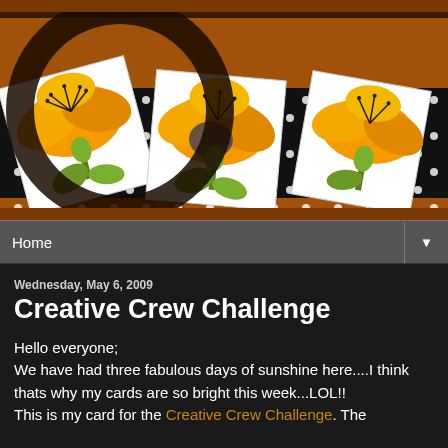[Figure (photo): Blog header image showing three illustrated orange flowers with green leaves on white diamond-shaped cards, set on a black and white polka dot background ribbon, on a warm brown/orange wood surface. A dark circular loop/ribbon overlays the scene.]
Home
Wednesday, May 6, 2009
Creative Crew Challenge
Hello everyone;
We have had three fabulous days of sunshine here....I think thats why my cards are so bright this week...LOL!!
This is my card for the Creative Crew Challenge. The